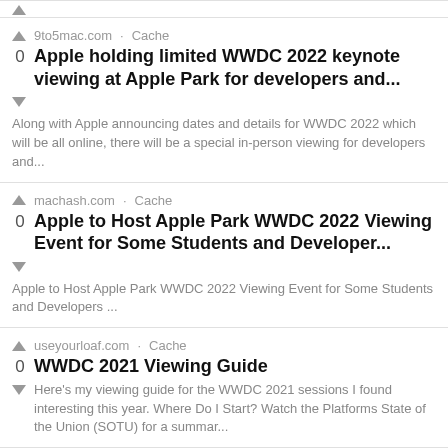9to5mac.com · Cache
0 Apple holding limited WWDC 2022 keynote viewing at Apple Park for developers and...
Along with Apple announcing dates and details for WWDC 2022 which will be all online, there will be a special in-person viewing for developers and...
machash.com · Cache
0 Apple to Host Apple Park WWDC 2022 Viewing Event for Some Students and Developer...
Apple to Host Apple Park WWDC 2022 Viewing Event for Some Students and Developers ...
useyourloaf.com · Cache
0 WWDC 2021 Viewing Guide
Here's my viewing guide for the WWDC 2021 sessions I found interesting this year. Where Do I Start? Watch the Platforms State of the Union (SOTU) for a summar...
useyourloaf.com · Cache